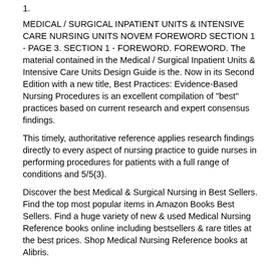1.
MEDICAL / SURGICAL INPATIENT UNITS & INTENSIVE CARE NURSING UNITS NOVEM FOREWORD SECTION 1 - PAGE 3. SECTION 1 - FOREWORD. FOREWORD. The material contained in the Medical / Surgical Inpatient Units & Intensive Care Units Design Guide is the. Now in its Second Edition with a new title, Best Practices: Evidence-Based Nursing Procedures is an excellent compilation of "best" practices based on current research and expert consensus findings.
This timely, authoritative reference applies research findings directly to every aspect of nursing practice to guide nurses in performing procedures for patients with a full range of conditions and 5/5(3).
Discover the best Medical & Surgical Nursing in Best Sellers. Find the top most popular items in Amazon Books Best Sellers. Find a huge variety of new & used Medical Nursing Reference books online including bestsellers & rare titles at the best prices. Shop Medical Nursing Reference books at Alibris.